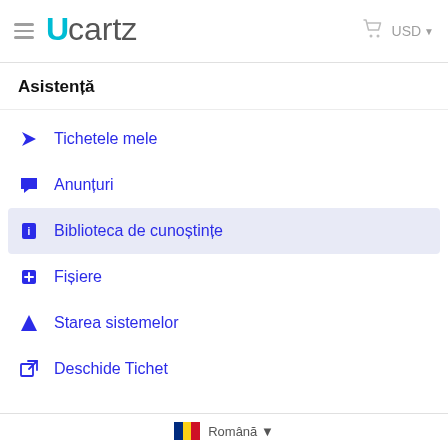Ucartz — USD
Asistență
Tichetele mele
Anunțuri
Biblioteca de cunoștințe
Fișiere
Starea sistemelor
Deschide Tichet
Română ▼